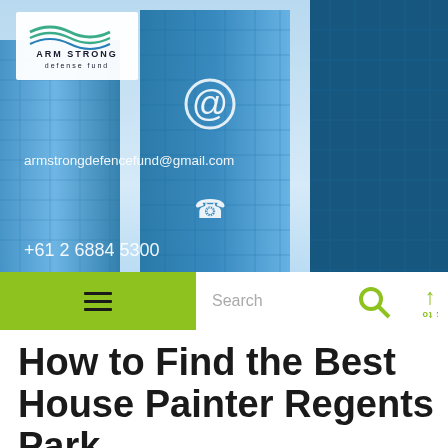[Figure (screenshot): Website screenshot showing Armstrong Defense Fund header with blue glass skyscraper building photo background, logo in top-left, email armstrongdefencefund@gmail.com and phone +61 2 6884 5300 contact info overlaid, green hamburger navigation bar with search field, and Back to Top button]
How to Find the Best House Painter Regents Park